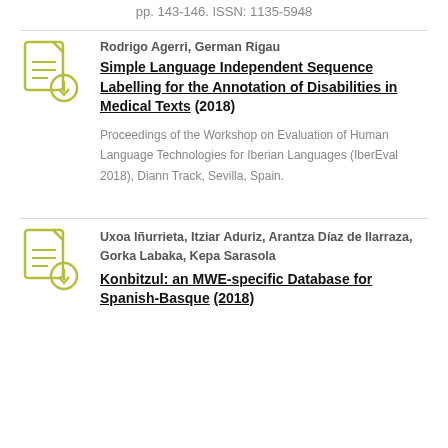pp. 143-146. ISSN: 1135-5948
Rodrigo Agerri, German Rigau
Simple Language Independent Sequence Labelling for the Annotation of Disabilities in Medical Texts (2018)
Proceedings of the Workshop on Evaluation of Human Language Technologies for Iberian Languages (IberEval 2018), Diann Track, Sevilla, Spain.
Uxoa Iñurrieta, Itziar Aduriz, Arantza Díaz de Ilarraza, Gorka Labaka, Kepa Sarasola
Konbitzul: an MWE-specific Database for Spanish-Basque (2018)